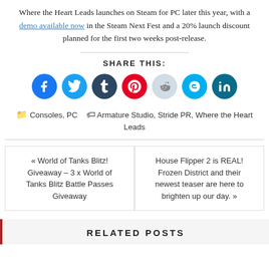Where the Heart Leads launches on Steam for PC later this year, with a demo available now in the Steam Next Fest and a 20% launch discount planned for the first two weeks post-release.
SHARE THIS:
[Figure (infographic): Row of 7 social share icon circles: Facebook (blue), Twitter (cyan), Tumblr (dark navy), Pinterest (red), Reddit (light blue-grey), Skype (teal), LinkedIn (dark teal)]
Consoles, PC   Armature Studio, Stride PR, Where the Heart Leads
« World of Tanks Blitz! Giveaway – 3 x World of Tanks Blitz Battle Passes Giveaway
House Flipper 2 is REAL! Frozen District and their newest teaser are here to brighten up our day. »
RELATED POSTS